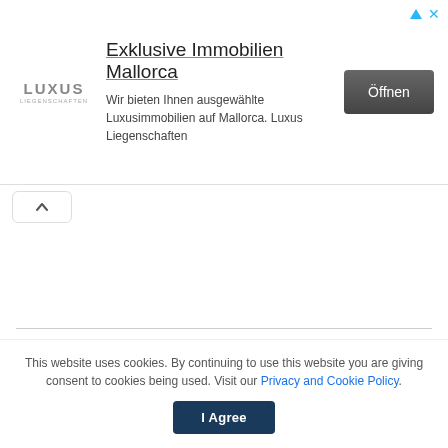[Figure (screenshot): Advertisement banner for Luxus Liegenschaften featuring logo, title 'Exklusive Immobilien Mallorca', description text, and an 'Öffnen' button]
[Figure (screenshot): Collapse/accordion toggle button with upward-pointing caret]
POPULAR NEWS
[Figure (photo): Partially visible image placeholder with grey background, representing a popular news article thumbnail]
This website uses cookies. By continuing to use this website you are giving consent to cookies being used. Visit our Privacy and Cookie Policy.
I Agree